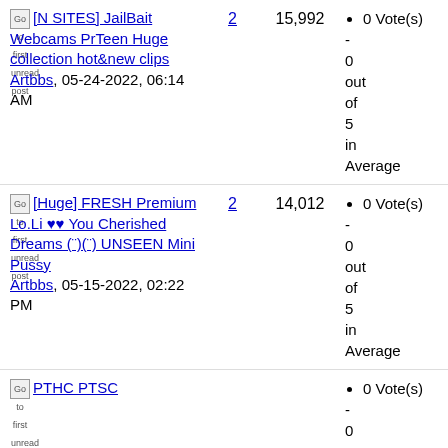[N SITES] JailBait Webcams PrTeen Huge collection hot&new clips
Artbbs, 05-24-2022, 06:14 AM
Replies: 2, Views: 15,992
Rating: 0 Vote(s) - 0 out of 5 in Average
Last post: 07-30-202...
[Huge] FRESH Premium Lo.Li ♥♥ You Cherished Dreams (¨)(¨) UNSEEN Mini Pussy
Artbbs, 05-15-2022, 02:22 PM
Replies: 2, Views: 14,012
Rating: 0 Vote(s) - 0 out of 5 in Average
Last post: 07-30-202...
PTHC PTSC...
Rating: 0 Vote(s) - 0 out of 5 in Average
Last post: 03-11-20...